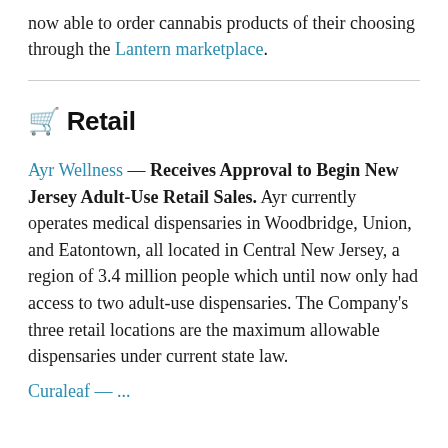now able to order cannabis products of their choosing through the Lantern marketplace.
🛒 Retail
Ayr Wellness — Receives Approval to Begin New Jersey Adult-Use Retail Sales. Ayr currently operates medical dispensaries in Woodbridge, Union, and Eatontown, all located in Central New Jersey, a region of 3.4 million people which until now only had access to two adult-use dispensaries. The Company's three retail locations are the maximum allowable dispensaries under current state law.
Curaleaf — ...